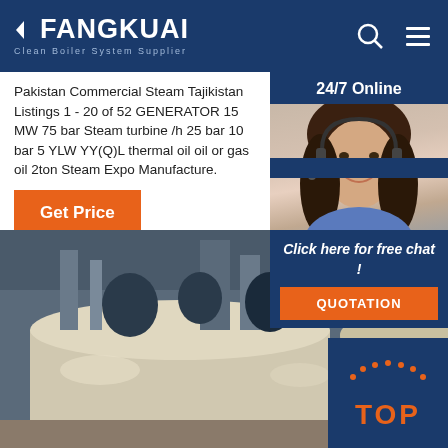FANGKUAI - Clean Boiler System Supplier
Pakistan Commercial Steam Tajikistan Listings 1 - 20 of 52 GENERATOR 15 MW 75 bar Steam turbine /h 25 bar 10 bar 5 YLW YY(Q)L thermal oil oil or gas oil 2ton Steam Expo Manufacture.
[Figure (photo): Customer service agent woman with headset smiling, with '24/7 Online' label and 'Click here for free chat!' text and QUOTATION button, on dark blue background]
[Figure (photo): Industrial boiler manufacturing facility interior showing large cylindrical boilers and equipment with a TOP badge overlay in orange and dark blue]
Get Price
24/7 Online
Click here for free chat !
QUOTATION
TOP